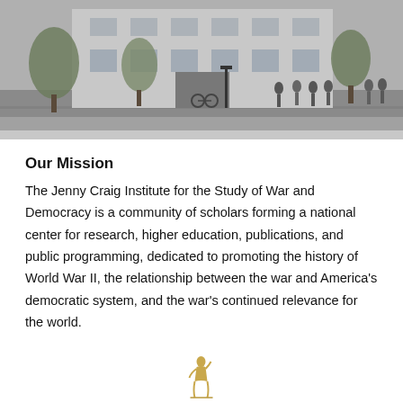[Figure (photo): A grayscale/desaturated architectural rendering of a city street scene with a large building, trees, and people walking on the sidewalk.]
Our Mission
The Jenny Craig Institute for the Study of War and Democracy is a community of scholars forming a national center for research, higher education, publications, and public programming, dedicated to promoting the history of World War II, the relationship between the war and America’s democratic system, and the war’s continued relevance for the world.
[Figure (illustration): Small golden/sepia illustration of a classical figure or statue at the bottom center of the page.]